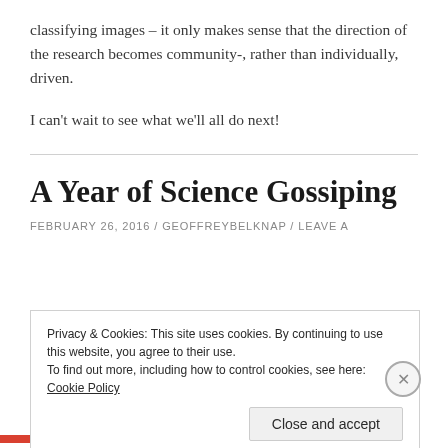classifying images – it only makes sense that the direction of the research becomes community-, rather than individually, driven.
I can't wait to see what we'll all do next!
A Year of Science Gossiping
FEBRUARY 26, 2016 / GEOFFREYBELKNAP / LEAVE A
Privacy & Cookies: This site uses cookies. By continuing to use this website, you agree to their use.
To find out more, including how to control cookies, see here: Cookie Policy
Close and accept